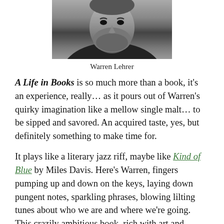[Figure (photo): Black and white portrait photograph of Warren Lehrer, a bearded man]
Warren Lehrer
A Life in Books is so much more than a book, it’s an experience, really… as it pours out of Warren’s quirky imagination like a mellow single malt… to be sipped and savored. An acquired taste, yes, but definitely something to make time for.
It plays like a literary jazz riff, maybe like Kind of Blue by Miles Davis. Here’s Warren, fingers pumping up and down on the keys, laying down pungent notes, sparkling phrases, blowing lilting tunes about who we are and where we’re going. This crazily ambitious book, rich with art and artifice, sends us meandering through all